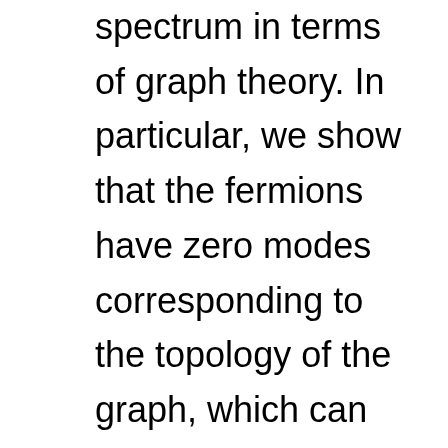spectrum in terms of graph theory. In particular, we show that the fermions have zero modes corresponding to the topology of the graph, which can be understood as kernels of the incidence matrices of the graph and the dual graph. In the continuous theory, a scalar curvature appears as an anomaly in the Ward-Takahashi (WT) identity associated